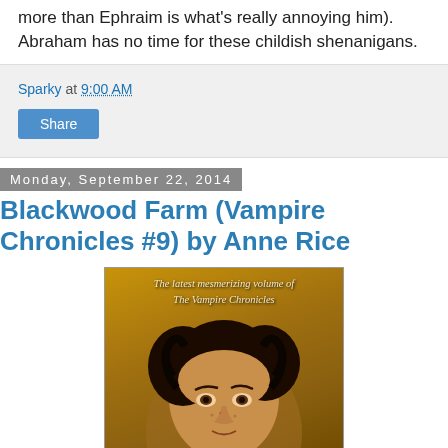more than Ephraim is what's really annoying him). Abraham has no time for these childish shenanigans.
Sparky at 9:00 AM
Share
Monday, September 22, 2014
Blackwood Farm (Vampire Chronicles #9) by Anne Rice
[Figure (photo): Book cover of Blackwood Farm (Vampire Chronicles #9) by Anne Rice, showing a young man's face with curly dark hair against a golden-brown background, with text 'The latest mesmerizing volume of The Vampire Chronicles' at the top.]